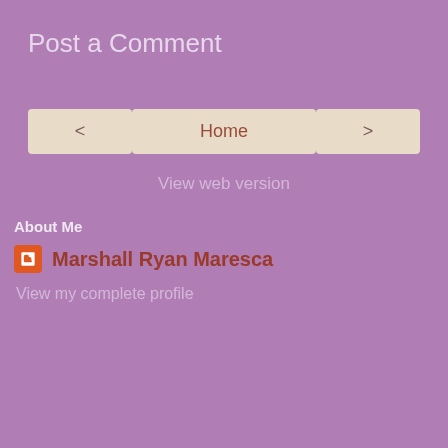Post a Comment
< Home >
View web version
About Me
Marshall Ryan Maresca
View my complete profile